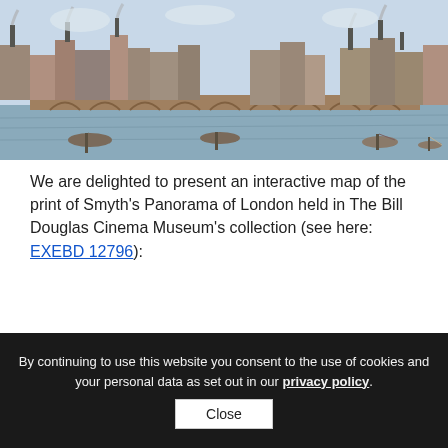[Figure (illustration): Historical panoramic illustration of London showing a bridge over the Thames, buildings, chimneys, boats on the water, and industrial scenery typical of 19th century London.]
We are delighted to present an interactive map of the print of Smyth's Panorama of London held in The Bill Douglas Cinema Museum's collection (see here: EXEBD 12796):
https://humanities-research.exeter.ac.uk/bdcm/panorama/bdcm_bl_complete_storymap.html
By continuing to use this website you consent to the use of cookies and your personal data as set out in our privacy policy.